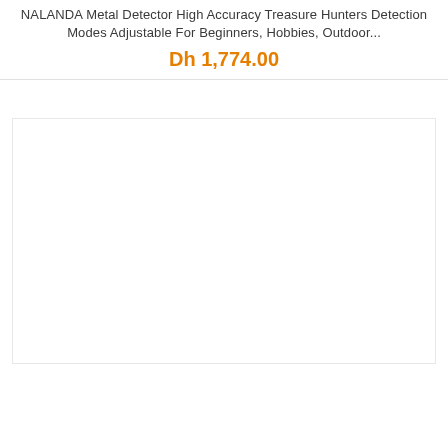NALANDA Metal Detector High Accuracy Treasure Hunters Detection Modes Adjustable For Beginners, Hobbies, Outdoor...
Dh 1,774.00
[Figure (photo): Empty white product image placeholder with light gray border]